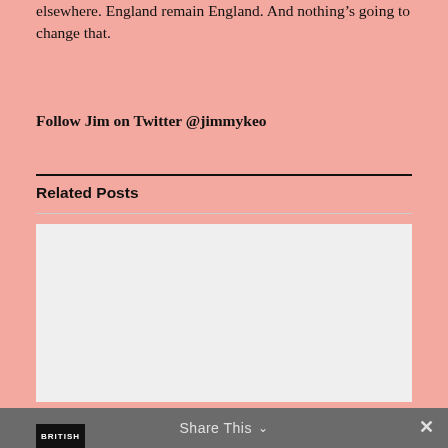elsewhere. England remain England. And nothing’s going to change that.
Follow Jim on Twitter @jimmykeo
Related Posts
[Figure (photo): Light gray image placeholder rectangle below Related Posts section]
Share This ∨  ×  BRITISH